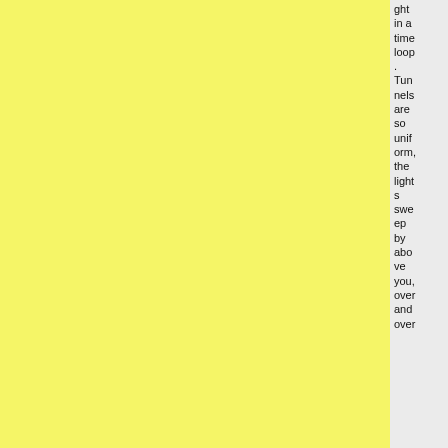[Figure (other): Yellow textured paper occupying the left two-thirds of the page]
ght in a time loop. Tunnels are so uniform, the lights sweep by above you, over and over